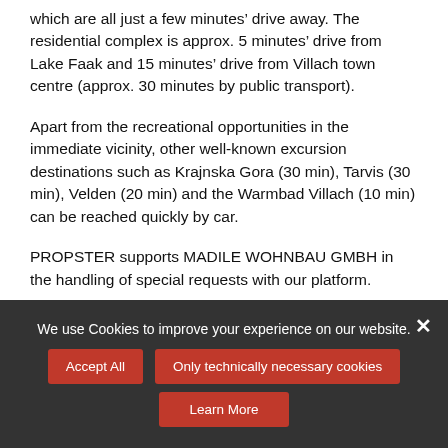which are all just a few minutes’ drive away. The residential complex is approx. 5 minutes’ drive from Lake Faak and 15 minutes’ drive from Villach town centre (approx. 30 minutes by public transport).
Apart from the recreational opportunities in the immediate vicinity, other well-known excursion destinations such as Krajnska Gora (30 min), Tarvis (30 min), Velden (20 min) and the Warmbad Villach (10 min) can be reached quickly by car.
PROPSTER supports MADILE WOHNBAU GMBH in the handling of special requests with our platform.
We use Cookies to improve your experience on our website.